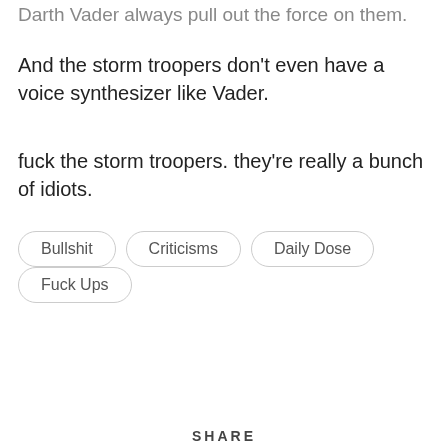Darth Vader always pull out the force on them.
And the storm troopers don't even have a voice synthesizer like Vader.
fuck the storm troopers. they're really a bunch of idiots.
Bullshit
Criticisms
Daily Dose
Fuck Ups
SHARE